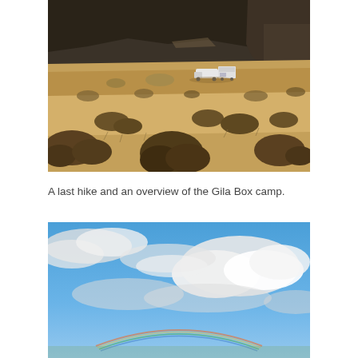[Figure (photo): Desert landscape aerial/elevated view showing arid scrubland with dry brush, sandy terrain, and rocky mountains in the background. A white truck and camper/trailer are parked in the middle distance.]
A last hike and an overview of the Gila Box camp.
[Figure (photo): Blue sky with white clouds, partial rainbow visible near the bottom of the frame.]